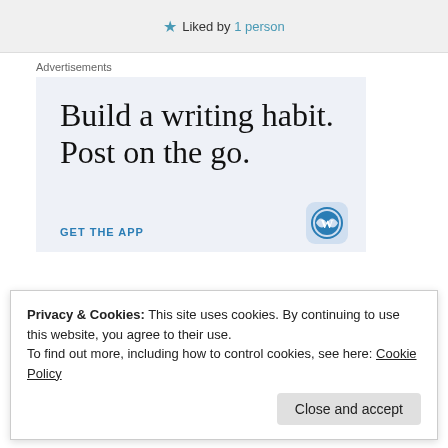★ Liked by 1 person
Advertisements
[Figure (infographic): WordPress advertisement: 'Build a writing habit. Post on the go.' with GET THE APP call to action and WordPress logo]
Privacy & Cookies: This site uses cookies. By continuing to use this website, you agree to their use.
To find out more, including how to control cookies, see here: Cookie Policy
I am so glad that I stumbled across this way God